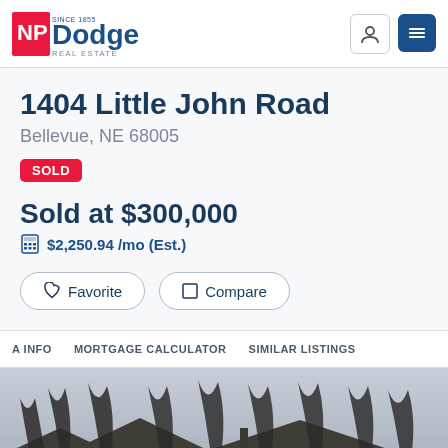[Figure (logo): NP Dodge Real Estate logo — red square with NP in white, blue 'Dodge' text, 'SINCE 1855' and 'REAL ESTATE' text]
1404 Little John Road
Bellevue, NE 68005
SOLD
Sold at $300,000
$2,250.94 /mo (Est.)
Favorite
Compare
A INFO    MORTGAGE CALCULATOR    SIMILAR LISTINGS
[Figure (photo): Exterior photo of house with bare winter trees against overcast sky, rooftop visible in lower portion]